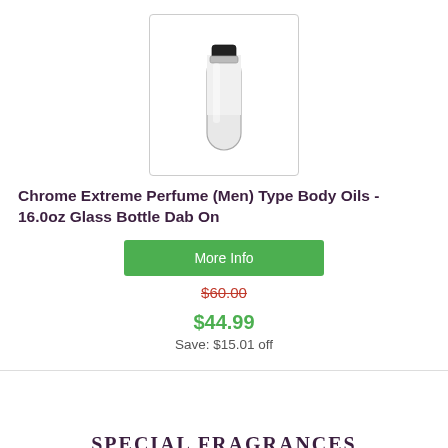[Figure (photo): Clear glass bottle with black cap, product photo on white background]
Chrome Extreme Perfume (Men) Type Body Oils - 16.0oz Glass Bottle Dab On
More Info
$60.00 (strikethrough)
$44.99
Save: $15.01 off
SPECIAL FRAGRANCES
VIEW ALL